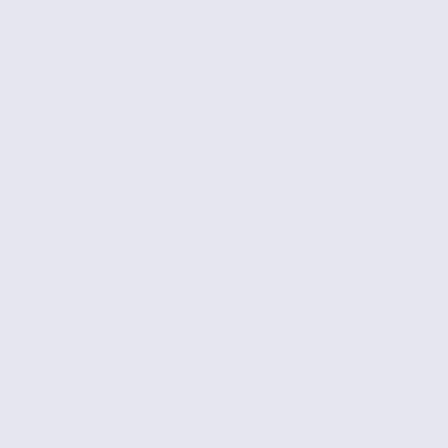[Figure (other): Light lavender/blue-grey rectangle occupying the left portion of the page]
51
The B
52
Fleetw
Cybe
3), Co
Fleetw
Cybe
6), Co
Fleetw
Cybe
9), Co
Fleetw
Cybe
12), C
Unkn
Fleetw
Cybe
15), C
Unkn
Fleetw
Cybe
21), C
Unkn
Fleetw
Cybe
(22), 
Unkn
DC/R
Hunt
Verdu
Titan